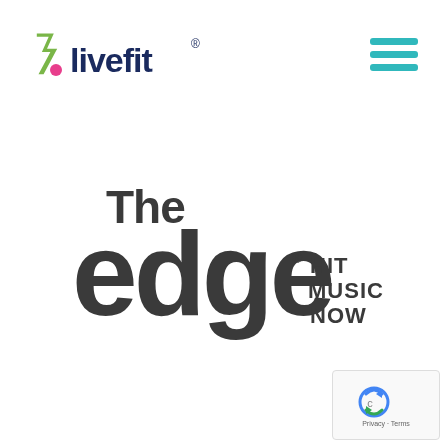[Figure (logo): LiveFit logo with green checkmark/lightning bolt icon and pink dot, text 'livefit' with registered trademark symbol in dark blue]
[Figure (other): Hamburger menu icon with three teal horizontal lines]
[Figure (logo): The Edge Hit Music Now logo in dark gray/charcoal]
[Figure (other): Google reCAPTCHA badge with Privacy and Terms text]